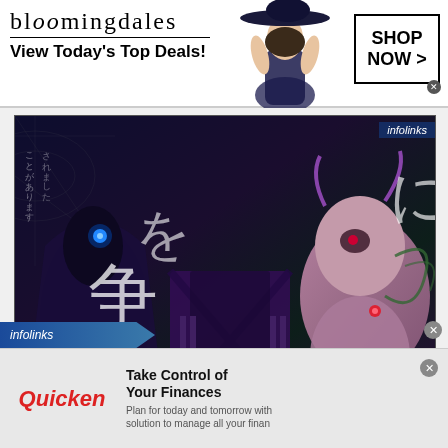[Figure (illustration): Bloomingdales advertisement banner with logo, 'View Today's Top Deals!' tagline, a woman model wearing a hat, and a 'SHOP NOW >' button]
[Figure (illustration): Manga/anime style illustration with Japanese text characters and stylized figures in dark purple/green tones. 'infolinks' badge visible.]
Executed Sage 3.2
August 7, 2020
[Figure (illustration): Infolinks banner bar at bottom left, and Quicken advertisement with logo, 'Take Control of Your Finances' headline, and 'Plan for today and tomorrow with solution to manage all your finan' subtext]